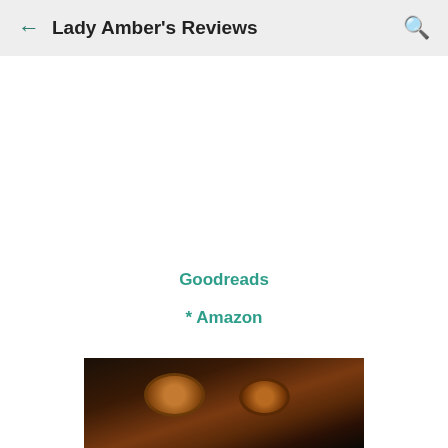Lady Amber's Reviews
Goodreads
* Amazon
[Figure (photo): A steampunk-style photograph showing copper/bronze goggles and mechanical accessories against a dark background]